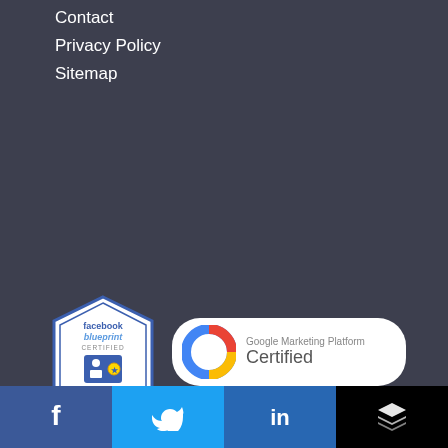Contact
Privacy Policy
Sitemap
[Figure (logo): Facebook Blueprint Certified – Media Buying Professional hexagonal badge]
[Figure (logo): Google Marketing Platform Certified badge with Google logo]
[Figure (logo): Microsoft Advertising Partner 2022 badge]
[Figure (logo): MOZ Recommended Company badge]
[Figure (logo): Social media bar with Facebook, Twitter, LinkedIn, and Buffer icons]